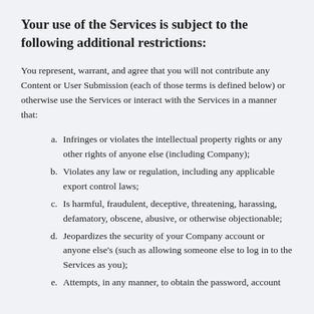Your use of the Services is subject to the following additional restrictions:
You represent, warrant, and agree that you will not contribute any Content or User Submission (each of those terms is defined below) or otherwise use the Services or interact with the Services in a manner that:
Infringes or violates the intellectual property rights or any other rights of anyone else (including Company);
Violates any law or regulation, including any applicable export control laws;
Is harmful, fraudulent, deceptive, threatening, harassing, defamatory, obscene, abusive, or otherwise objectionable;
Jeopardizes the security of your Company account or anyone else's (such as allowing someone else to log in to the Services as you);
Attempts, in any manner, to obtain the password, account